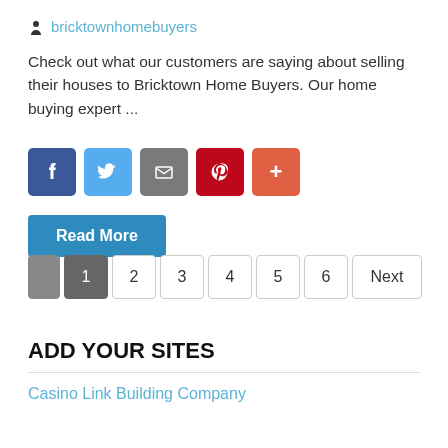bricktownhomebuyers
Check out what our customers are saying about selling their houses to Bricktown Home Buyers. Our home buying expert ...
[Figure (other): Social share buttons: Facebook, Twitter, Email, Pinterest, Plus]
Read More
[Figure (other): Pagination: previous (grey block), 1, 2, 3, 4, 5, 6, Next]
ADD YOUR SITES
Casino Link Building Company